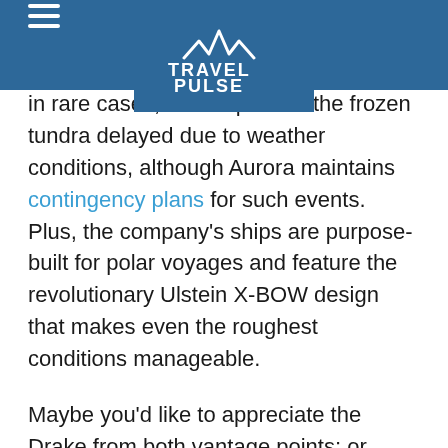TravelPulse
in rare cases, find its path across the frozen tundra delayed due to weather conditions, although Aurora maintains contingency plans for such events. Plus, the company's ships are purpose-built for polar voyages and feature the revolutionary Ulstein X-BOW design that makes even the roughest conditions manageable.
Maybe you'd like to appreciate the Drake from both vantage points; or, perhaps you want to experience crossing the historic Drake Passage by sea once, but would rather forego it going the opposite direction. In which case, you can opt to bypass just one leg of the journey.
Several Aurora Expeditions Antarctic voyages include a built-in fly option, with charter flights included in the